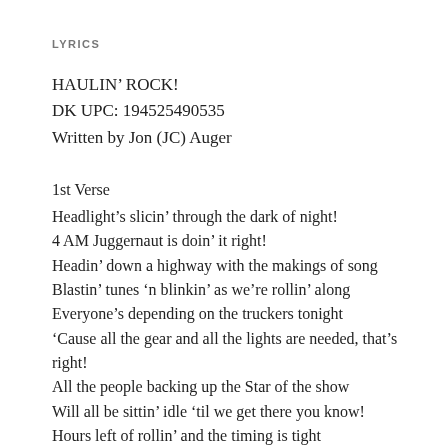LYRICS
HAULIN’ ROCK!
DK UPC: 194525490535
Written by Jon (JC) Auger
1st Verse
Headlight’s slicin’ through the dark of night!
4 AM Juggernaut is doin’ it right!
Headin’ down a highway with the makings of song
Blastin’ tunes ‘n blinkin’ as we’re rollin’ along
Everyone’s depending on the truckers tonight
‘Cause all the gear and all the lights are needed, that’s right!
All the people backing up the Star of the show
Will all be sittin’ idle ‘til we get there you know!
Hours left of rollin’ and the timing is tight
We’ve just gotta get the music to the show tonight!